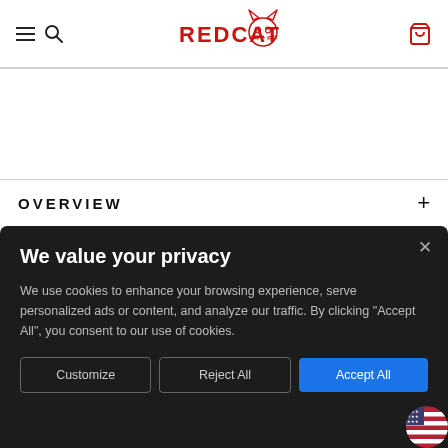REDCAT (logo) navigation bar with hamburger menu, search, and cart icons
OVERVIEW +
[Figure (screenshot): Cookie consent banner with dark background over website content. Title: 'We value your privacy'. Body text about cookies. Three buttons: Customize, Reject All, Accept All.]